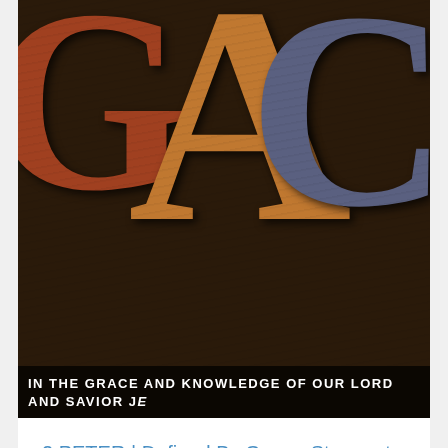[Figure (photo): Letterpress wooden type letters spelling G, A, C in brown, orange and grey tones with dark background. A white text banner overlay reads: IN THE GRACE AND KNOWLEDGE OF OUR LORD AND SAVIOR JE...]
2 PETER | Defined By Grace: Stagnant Christian
2 PETER 1:9-11 | April 17, 2016
[Figure (photo): Second letterpress wooden type image showing 'A STUDY OF' text above large wooden letterpress letters, brown and dark tones.]